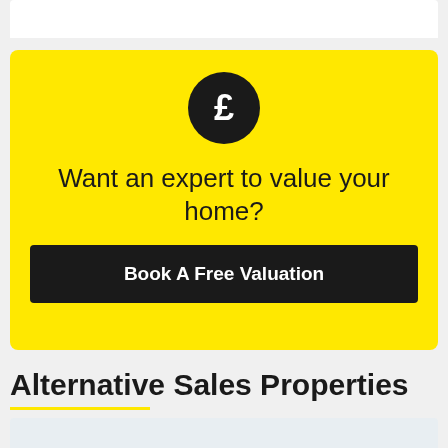[Figure (screenshot): Yellow promotional card with pound sign icon, heading 'Want an expert to value your home?' and a black 'Book A Free Valuation' button]
Alternative Sales Properties
[Figure (photo): Partial property photo at the bottom of the page showing a building against a blue sky]